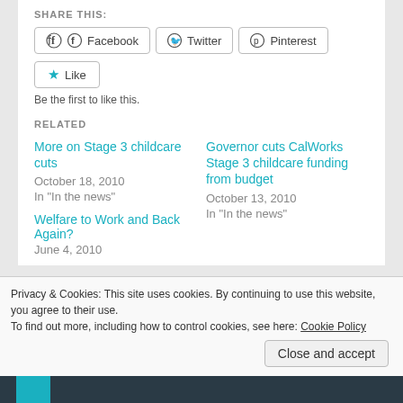SHARE THIS:
Facebook  Twitter  Pinterest
Like
Be the first to like this.
RELATED
More on Stage 3 childcare cuts
October 18, 2010
In "In the news"
Governor cuts CalWorks Stage 3 childcare funding from budget
October 13, 2010
In "In the news"
Welfare to Work and Back Again?
June 4, 2010
Privacy & Cookies: This site uses cookies. By continuing to use this website, you agree to their use.
To find out more, including how to control cookies, see here: Cookie Policy
Close and accept